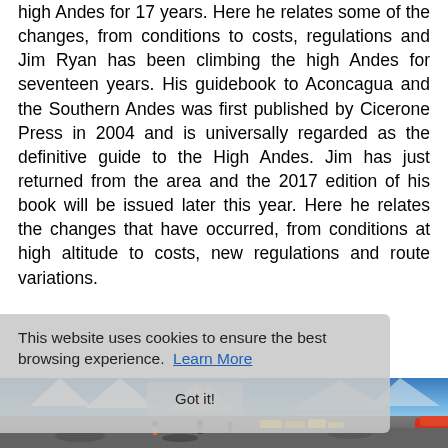high Andes for 17 years. Here he relates some of the changes, from conditions to costs, regulations and Jim Ryan has been climbing the high Andes for seventeen years. His guidebook to Aconcagua and the Southern Andes was first published by Cicerone Press in 2004 and is universally regarded as the definitive guide to the High Andes. Jim has just returned from the area and the 2017 edition of his book will be issued later this year. Here he relates the changes that have occurred, from conditions at high altitude to costs, new regulations and route variations.
This website uses cookies to ensure the best browsing experience. Learn More
Got it!
[Figure (photo): Mountain base camp scene with yellow tents, climbers walking on rocky terrain, snow-capped peaks in background and blue sky.]